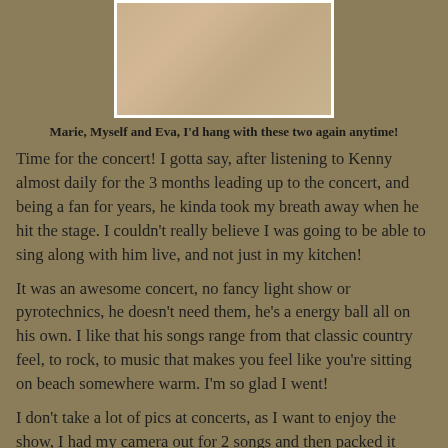[Figure (photo): A close-up photo of skin or a textured surface, displayed with a white border, centered at the top of the page.]
Marie, Myself and Eva, I'd hang with these two again anytime!
Time for the concert! I gotta say, after listening to Kenny almost daily for the 3 months leading up to the concert, and being a fan for years, he kinda took my breath away when he hit the stage. I couldn't really believe I was going to be able to sing along with him live, and not just in my kitchen!
It was an awesome concert, no fancy light show or pyrotechnics, he doesn't need them, he's a energy ball all on his own. I like that his songs range from that classic country feel, to rock, to music that makes you feel like you're sitting on beach somewhere warm. I'm so glad I went!
I don't take a lot of pics at concerts, as I want to enjoy the show, I had my camera out for 2 songs and then packed it away. I have no pics of him looking at me, because when Kenny was singing to me, I didn't want to be rude and put a camera in his face, as I was that close. Here are a few I